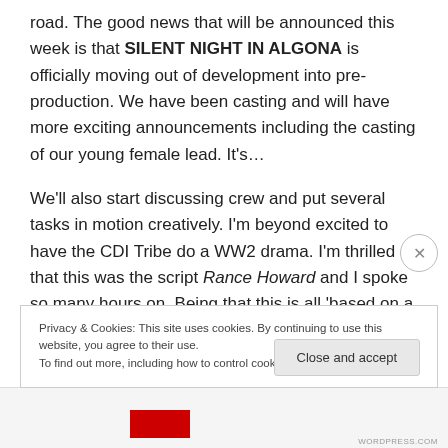road. The good news that will be announced this week is that SILENT NIGHT IN ALGONA is officially moving out of development into pre-production. We have been casting and will have more exciting announcements including the casting of our young female lead. It's…
We'll also start discussing crew and put several tasks in motion creatively. I'm beyond excited to have the CDI Tribe do a WW2 drama. I'm thrilled that this was the script Rance Howard and I spoke so many hours on. Being that this is all 'based on a true event' makes it even better that
Privacy & Cookies: This site uses cookies. By continuing to use this website, you agree to their use.
To find out more, including how to control cookies, see here: Cookie Policy
Close and accept